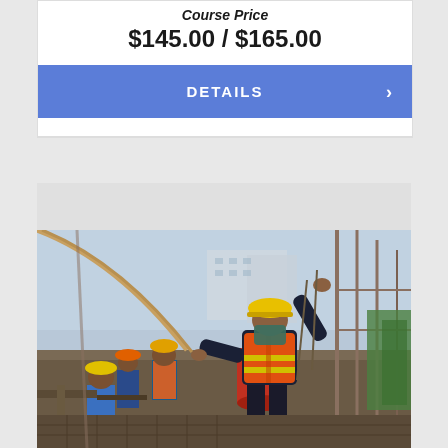Course Price
$145.00 / $165.00
DETAILS ›
[Figure (photo): Construction site workers wearing orange safety vests and yellow hard hats on a building site with scaffolding, rebar, and equipment. The main worker in the foreground stands with one arm raised pointing, wearing an orange high-visibility vest with yellow reflective stripes.]